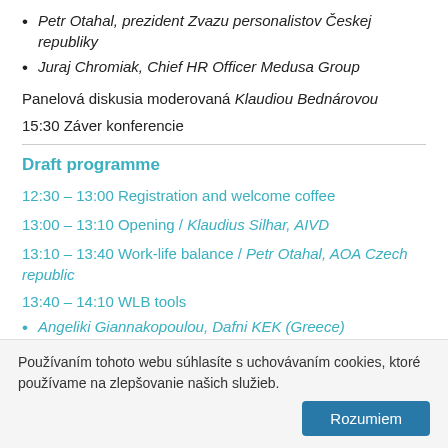Petr Otahal, prezident Zvazu personalistov Českej republiky
Juraj Chromiak, Chief HR Officer Medusa Group
Panelová diskusia moderovaná Klaudiou Bednárovou
15:30 Záver konferencie
Draft programme
12:30 – 13:00 Registration and welcome coffee
13:00 – 13:10 Opening / Klaudius Silhar, AIVD
13:10 – 13:40 Work-life balance / Petr Otahal, AOA Czech republic
13:40 – 14:10 WLB tools
Angeliki Giannakopoulou, Dafni KEK (Greece)
Francisca Barros, Joana Rocha, Amor Terra Verde
Používaním tohoto webu súhlasíte s uchovávaním cookies, ktoré používame na zlepšovanie našich služieb.
Rozumiem